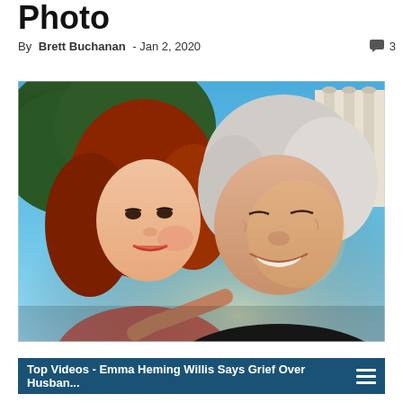Photo
By Brett Buchanan - Jan 2, 2020   💬 3
[Figure (photo): Selfie photo of a young woman with long red hair leaning against an older man with white hair, both smiling, outdoors with blue sky and green mountain in background]
Top Videos - Emma Heming Willis Says Grief Over Husban...